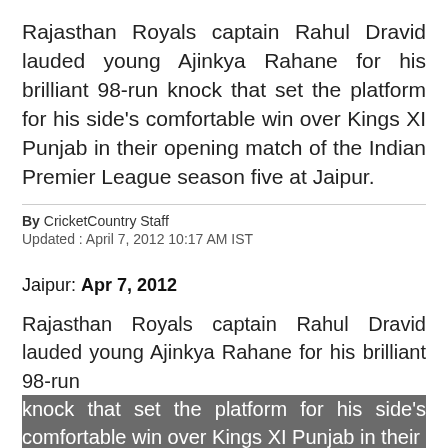Rajasthan Royals captain Rahul Dravid lauded young Ajinkya Rahane for his brilliant 98-run knock that set the platform for his side's comfortable win over Kings XI Punjab in their opening match of the Indian Premier League season five at Jaipur.
By CricketCountry Staff
Updated : April 7, 2012 10:17 AM IST
Jaipur: Apr 7, 2012
Rajasthan Royals captain Rahul Dravid lauded young Ajinkya Rahane for his brilliant 98-run knock that set the platform for his side's comfortable win over Kings XI Punjab in their